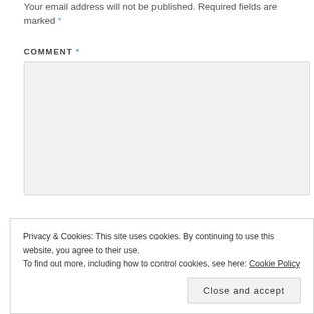Your email address will not be published. Required fields are marked *
COMMENT *
[Figure (other): Empty comment text area input box with light grey background]
Privacy & Cookies: This site uses cookies. By continuing to use this website, you agree to their use.
To find out more, including how to control cookies, see here: Cookie Policy
Close and accept